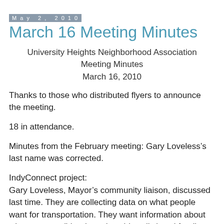May 2, 2010
March 16 Meeting Minutes
University Heights Neighborhood Association Meeting Minutes
March 16, 2010
Thanks to those who distributed flyers to announce the meeting.
18 in attendance.
Minutes from the February meeting: Gary Loveless’s last name was corrected.
IndyConnect project:
Gary Loveless, Mayor’s community liaison, discussed last time. They are collecting data on what people want for transportation. They want information about what we want (bicycle paths, sidewalks) and funding ideas. Ruth passed around brochures. You can go to Indyconnect.org for more